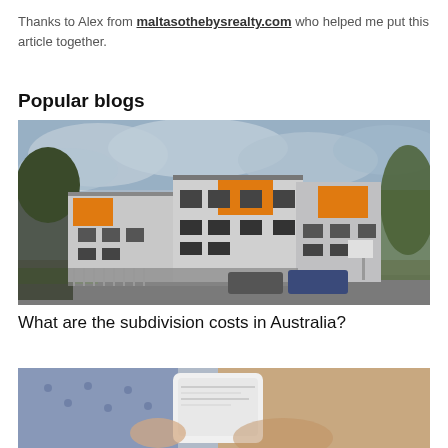Thanks to Alex from maltasothebysrealty.com who helped me put this article together.
Popular blogs
[Figure (photo): Exterior photo of a modern multi-storey residential apartment complex with grey and orange/yellow accents, cars parked outside, trees, under a partly cloudy sky.]
What are the subdivision costs in Australia?
[Figure (photo): Partial photo showing a person holding a white smartphone, blurred background with blue and warm tones.]